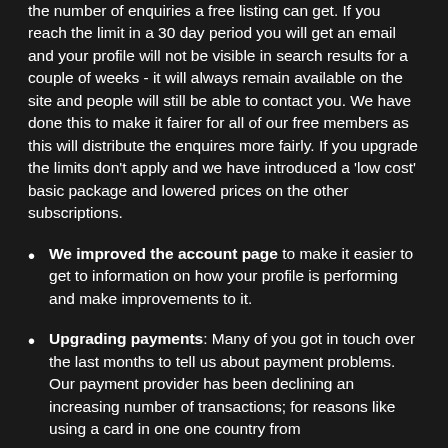the number of enquiries a free listing can get. If you reach the limit in a 30 day period you will get an email and your profile will not be visible in search results for a couple of weeks - it will always remain available on the site and people will still be able to contact you. We have done this to make it fairer for all of our free members as this will distribute the enquires more fairly. If you upgrade the limits don't apply and we have introduced a 'low cost' basic package and lowered prices on the other subscriptions.
We improved the account page to make it easier to get to information on how your profile is performing and make improvements to it.
Upgrading payments: Many of you got in touch over the last months to tell us about payment problems. Our payment provider has been declining an increasing number of transactions; for reasons like using a card in one one country from